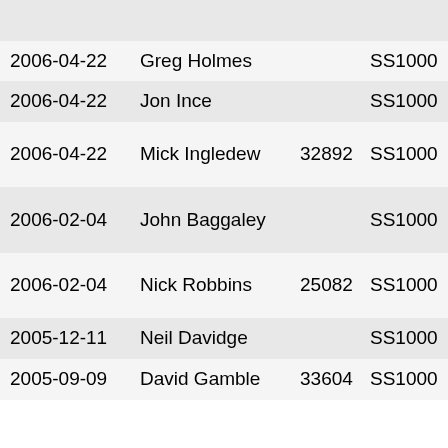| Date | Name | Number | Class | Make/Model |
| --- | --- | --- | --- | --- |
|  |  |  |  | CVO Glide |
| 2006-04-22 | Greg Holmes |  | SS1000 | Harley-Davidson Ultra Class |
| 2006-04-22 | Jon Ince |  | SS1000 | Harley-Davidson FLSTF Fat Boy |
| 2006-04-22 | Mick Ingledew | 32892 | SS1000 | Harley-Davidson FLHX Street Glide |
| 2006-02-04 | John Baggaley |  | SS1000 | Harley-Davidson FLHRCI Road King Classic |
| 2006-02-04 | Nick Robbins | 25082 | SS1000 | Harley-Davidson FLHRI Road King |
| 2005-12-11 | Neil Davidge |  | SS1000 | BMW R1150 RT |
| 2005-09-09 | David Gamble | 33604 | SS1000 | BMW R115 |